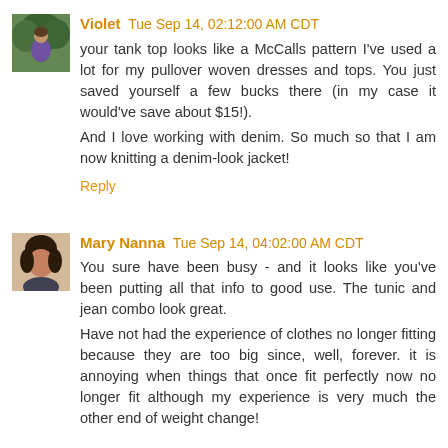[Figure (photo): Small avatar photo of Violet, showing a person outdoors with trees/foliage in background]
Violet Tue Sep 14, 02:12:00 AM CDT
your tank top looks like a McCalls pattern I've used a lot for my pullover woven dresses and tops. You just saved yourself a few bucks there (in my case it would've save about $15!).
And I love working with denim. So much so that I am now knitting a denim-look jacket!
Reply
[Figure (photo): Small avatar photo of Mary Nanna, a woman with dark hair]
Mary Nanna Tue Sep 14, 04:02:00 AM CDT
You sure have been busy - and it looks like you've been putting all that info to good use. The tunic and jean combo look great.
Have not had the experience of clothes no longer fitting because they are too big since, well, forever. it is annoying when things that once fit perfectly now no longer fit although my experience is very much the other end of weight change!